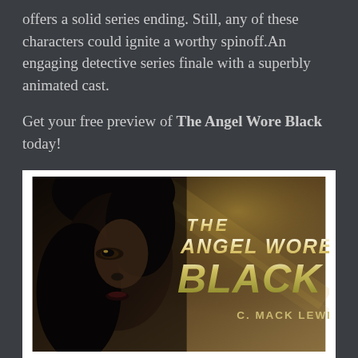offers a solid series ending. Still, any of these characters could ignite a worthy spinoff.An engaging detective series finale with a superbly animated cast.
Get your free preview of The Angel Wore Black today!
[Figure (illustration): Book cover of 'The Angel Wore Black' by C. Mack Lewis. Shows a dark-haired woman in shadow with dramatic lighting. The title text 'THE ANGEL WORE BLACK' is displayed in bold art-deco style lettering, and the author name 'C. MACK LEWIS' appears below.]